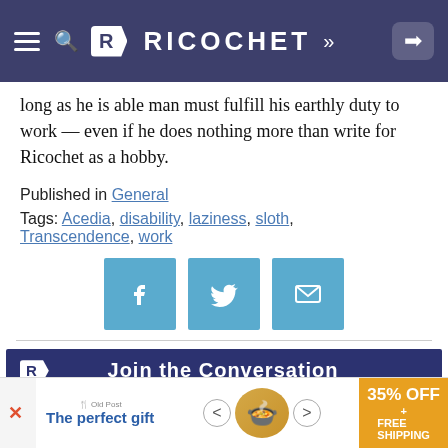RICOCHET
long as he is able man must fulfill his earthly duty to work — even if he does nothing more than write for Ricochet as a hobby.
Published in General
Tags: Acedia, disability, laziness, sloth, Transcendence, work
[Figure (infographic): Three social share buttons: Facebook (f), Twitter (bird), and email (envelope), in light blue square buttons]
[Figure (infographic): Ricochet 'Join the Conversation' banner ad: Comment and Write Your Own Posts. RICOCHET.COM - Only $5 a month]
Like this post? Want to comment? Join Ricochet's
[Figure (infographic): Bottom ad bar: The perfect gift, food image with navigation arrows, 35% OFF + FREE SHIPPING]